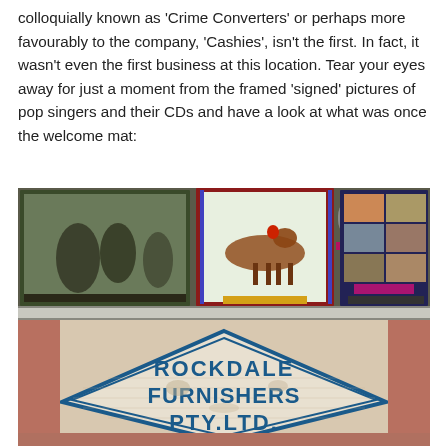colloquially known as 'Crime Converters' or perhaps more favourably to the company, 'Cashies', isn't the first. In fact, it wasn't even the first business at this location. Tear your eyes away for just a moment from the framed 'signed' pictures of pop singers and their CDs and have a look at what was once the welcome mat:
[Figure (photo): A photograph showing the interior of a shop with framed pictures of pop singers and CDs visible in the upper portion, and in the lower portion a tiled floor welcome mat that reads 'ROCKDALE FURNISHERS PTY.LTD.' in blue mosaic lettering within a diamond-shaped border.]